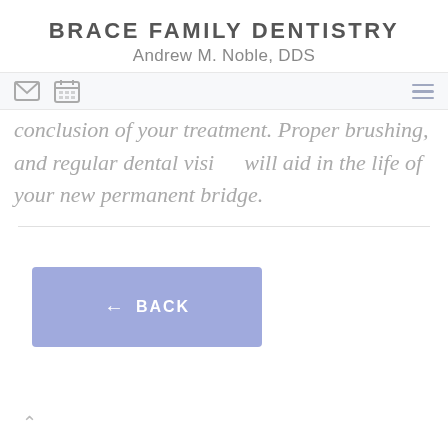BRACE FAMILY DENTISTRY
Andrew M. Noble, DDS
conclusion of your treatment. Proper brushing, flossing, and regular dental visits will aid in the life of your new permanent bridge.
[Figure (screenshot): Navigation bar with envelope icon, calendar icon, and hamburger menu icon]
← BACK